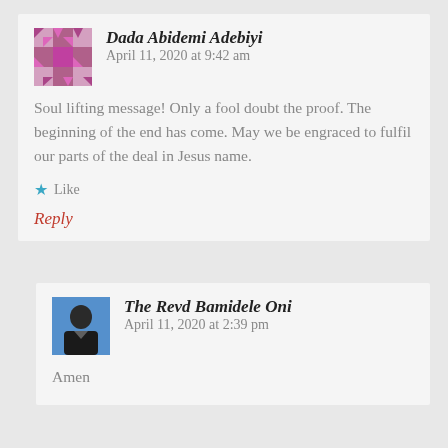Dada Abidemi Adebiyi — April 11, 2020 at 9:42 am
Soul lifting message! Only a fool doubt the proof. The beginning of the end has come. May we be engraced to fulfil our parts of the deal in Jesus name.
Like
Reply
The Revd Bamidele Oni — April 11, 2020 at 2:39 pm
Amen